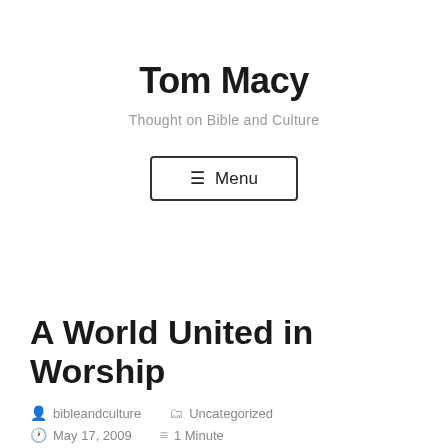Tom Macy
Thought on Bible and Culture
☰ Menu
A World United in Worship
bibleandculture   Uncategorized   May 17, 2009   1 Minute